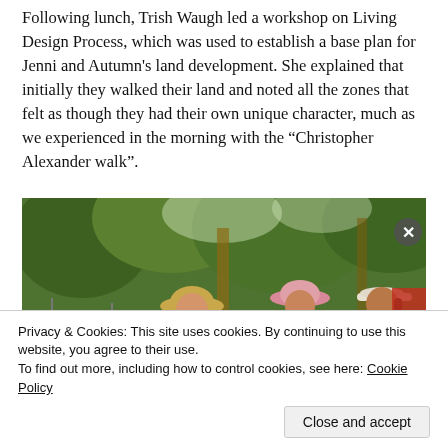Following lunch, Trish Waugh led a workshop on Living Design Process, which was used to establish a base plan for Jenni and Autumn's land development. She explained that initially they walked their land and noted all the zones that felt as though they had their own unique character, much as we experienced in the morning with the “Christopher Alexander walk”.
[Figure (photo): Outdoor photo showing a woman in a purple shirt and wide-brimmed hat holding up a colorful map/plan, presenting to two other people wearing hats, with trees and a fence in the background.]
Privacy & Cookies: This site uses cookies. By continuing to use this website, you agree to their use.
To find out more, including how to control cookies, see here: Cookie Policy
Close and accept